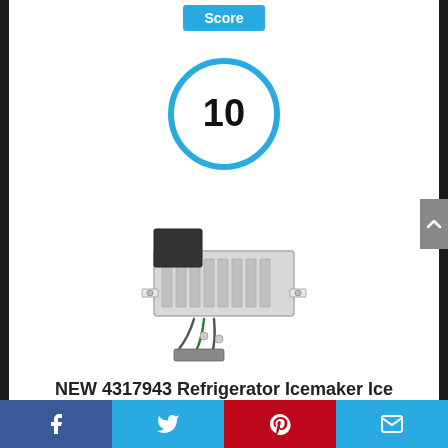Score
[Figure (infographic): Score circle badge showing the number 10 inside a cyan/light-blue circular ring]
[Figure (photo): Product photo of a refrigerator icemaker ice maker assembly unit with wires and mounting hardware]
NEW 4317943 Refrigerator Icemaker Ice
[Figure (infographic): Social sharing bar at bottom with Facebook, Twitter, Pinterest, and email icon buttons]